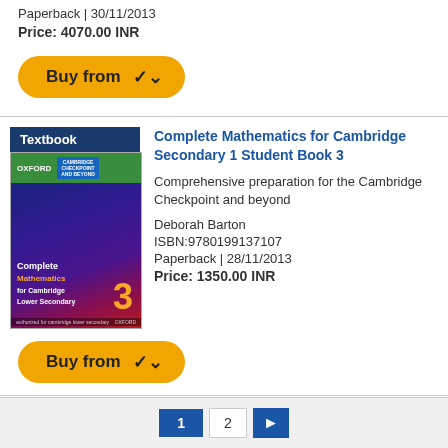Paperback | 30/11/2013
Price: 4070.00 INR
[Figure (other): Orange 'Buy from' button with chevron]
[Figure (illustration): Textbook label and book cover for Complete Mathematics for Cambridge Lower Secondary]
Complete Mathematics for Cambridge Secondary 1 Student Book 3
Comprehensive preparation for the Cambridge Checkpoint and beyond
Deborah Barton
ISBN:9780199137107
Paperback | 28/11/2013
Price: 1350.00 INR
[Figure (other): Orange 'Buy from' button with chevron]
1  2  >